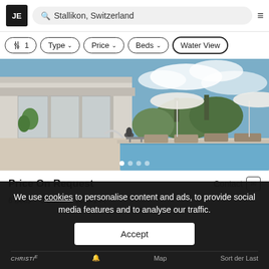[Figure (screenshot): JE real estate website header with logo, search bar showing Stallikon Switzerland, and hamburger menu]
[Figure (screenshot): Filter row with filter icon showing count 1, Type dropdown, Price dropdown, Beds dropdown, and Water View button]
[Figure (photo): Luxury property photo showing modern villa with pool, sun loungers, umbrellas and trees in background with sky]
Price On Request
Contact
6 Beds · 3 Baths · 5034.1 Ft²
We use cookies to personalise content and ads, to provide social media features and to analyse our traffic.
Accept